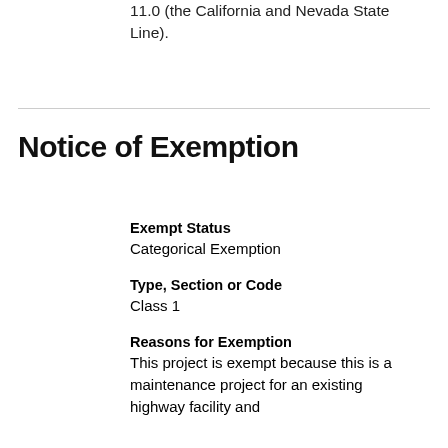11.0 (the California and Nevada State Line).
Notice of Exemption
Exempt Status
Categorical Exemption
Type, Section or Code
Class 1
Reasons for Exemption
This project is exempt because this is a maintenance project for an existing highway facility and